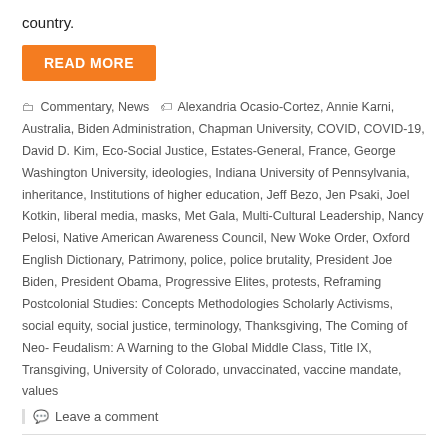country.
READ MORE
Commentary, News  Alexandria Ocasio-Cortez, Annie Karni, Australia, Biden Administration, Chapman University, COVID, COVID-19, David D. Kim, Eco-Social Justice, Estates-General, France, George Washington University, ideologies, Indiana University of Pennsylvania, inheritance, Institutions of higher education, Jeff Bezo, Jen Psaki, Joel Kotkin, liberal media, masks, Met Gala, Multi-Cultural Leadership, Nancy Pelosi, Native American Awareness Council, New Woke Order, Oxford English Dictionary, Patrimony, police, police brutality, President Joe Biden, President Obama, Progressive Elites, protests, Reframing Postcolonial Studies: Concepts Methodologies Scholarly Activisms, social equity, social justice, terminology, Thanksgiving, The Coming of Neo-Feudalism: A Warning to the Global Middle Class, Title IX, Transgiving, University of Colorado, unvaccinated, vaccine mandate, values
Leave a comment
The Department of Justice Bans No-Knock